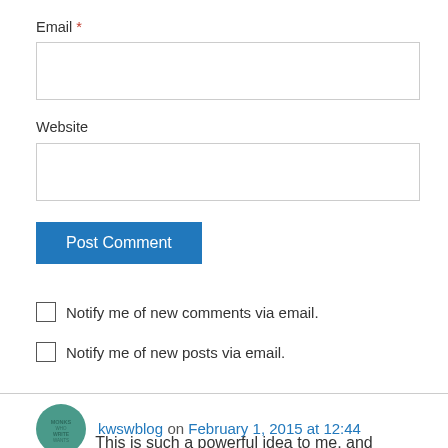Email *
[Figure (screenshot): Empty email input text field with gray border]
Website
[Figure (screenshot): Empty website input text field with gray border]
[Figure (screenshot): Post Comment blue button]
Notify me of new comments via email.
Notify me of new posts via email.
kwswblog on February 1, 2015 at 12:44
This is such a powerful idea to me, and